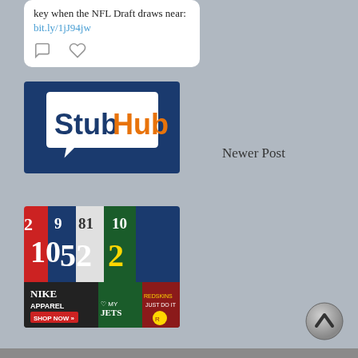key when the NFL Draft draws near: bit.ly/1jJ94jw
[Figure (logo): StubHub! logo in speech bubble on blue background]
Newer Post
[Figure (photo): Nike NFL apparel advertisement showing multiple team jerseys and Nike Apparel shop now banner]
[Figure (other): Scroll to top button, circular grey arrow icon]